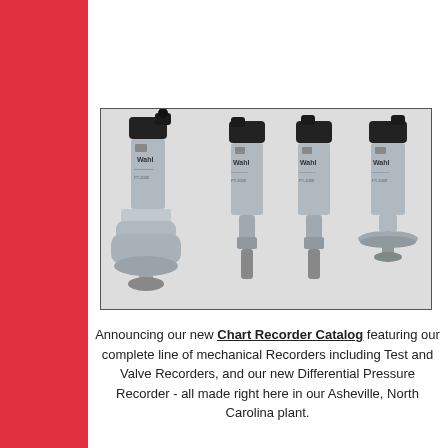[Figure (photo): Four Wahl brand pressure transducers/sensors with black electrical connectors on top and stainless steel bodies and fittings at the bottom. The leftmost has a large threaded union fitting, the others have standard threaded NPT fittings, and the rightmost has a sanitary flange fitting.]
Announcing our new Chart Recorder Catalog featuring our complete line of mechanical Recorders including Test and Valve Recorders, and our new Differential Pressure Recorder - all made right here in our Asheville, North Carolina plant.